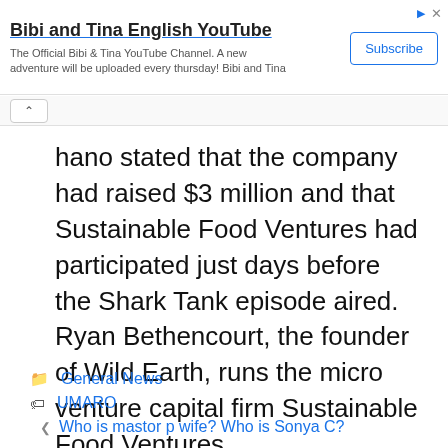[Figure (screenshot): Advertisement banner for 'Bibi and Tina English YouTube' channel with Subscribe button]
nano stated that the company had raised $3 million and that Sustainable Food Ventures had participated just days before the Shark Tank episode aired. Ryan Bethencourt, the founder of Wild Earth, runs the micro venture capital firm Sustainable Food Ventures.
General News
UMARO
Who is mastor p wife? Who is Sonya C?